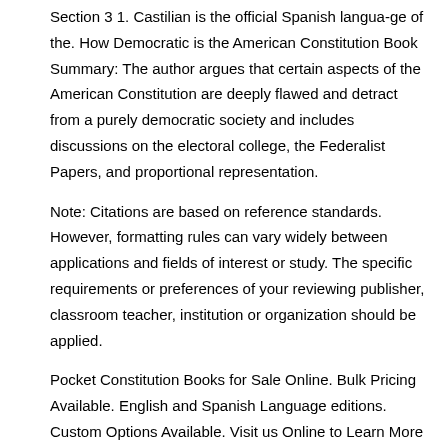Section 3 1. Castilian is the official Spanish langua-ge of the. How Democratic is the American Constitution Book Summary: The author argues that certain aspects of the American Constitution are deeply flawed and detract from a purely democratic society and includes discussions on the electoral college, the Federalist Papers, and proportional representation.
Note: Citations are based on reference standards. However, formatting rules can vary widely between applications and fields of interest or study. The specific requirements or preferences of your reviewing publisher, classroom teacher, institution or organization should be applied.
Pocket Constitution Books for Sale Online. Bulk Pricing Available. English and Spanish Language editions. Custom Options Available. Visit us Online to Learn More About Ordering U.S.
Pocket Constitution Books. The Worldwide leader in pocket constitution books "The U.S. Constitution & Fascinating Facts About It"